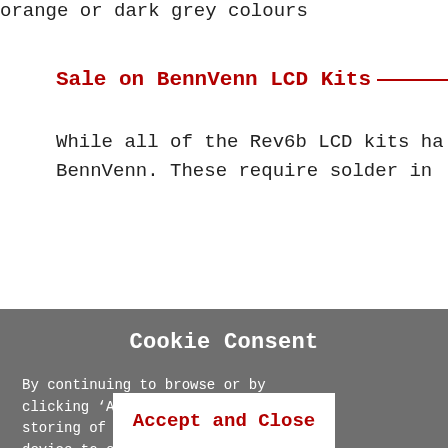orange or dark grey colours
Sale on BennVenn LCD Kits
While all of the Rev6b LCD kits ha... BennVenn. These require solder in...
Cookie Consent
By continuing to browse or by clicking ‘Accept’, you agree to storing of cookies on your device to enhance your site experience and for analytical purposes. To learn more about how we use cookies, please see our privacy policy.
Accept and Close